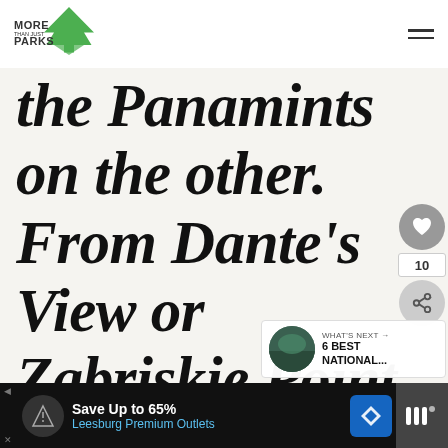[Figure (logo): More Than Just Parks logo — green arrowhead/tree icon with 'MORE THAN JUST PARKS' text]
the Panamints on the other. From Dante's View or Zabriskie Point, on a day when the haze
[Figure (infographic): Sidebar UI buttons: heart/like button (gray circle), count '10', share button (gray circle with share icon)]
[Figure (infographic): What's Next panel with circular thumbnail photo and text: 'WHAT'S NEXT → 6 BEST NATIONAL...']
[Figure (infographic): Advertisement bar: Save Up to 65% Leesburg Premium Outlets]